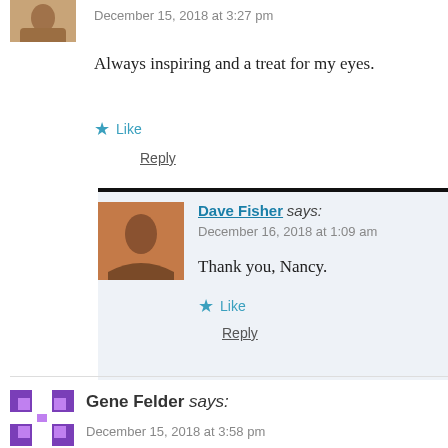December 15, 2018 at 3:27 pm
Always inspiring and a treat for my eyes.
Like
Reply
Dave Fisher says:
December 16, 2018 at 1:09 am
Thank you, Nancy.
Like
Reply
Gene Felder says:
December 15, 2018 at 3:58 pm